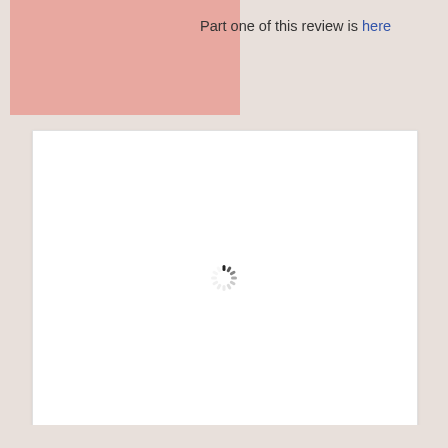Part one of this review is here
[Figure (other): A loading spinner (activity indicator) centered in a white content area, indicating that content is being loaded.]